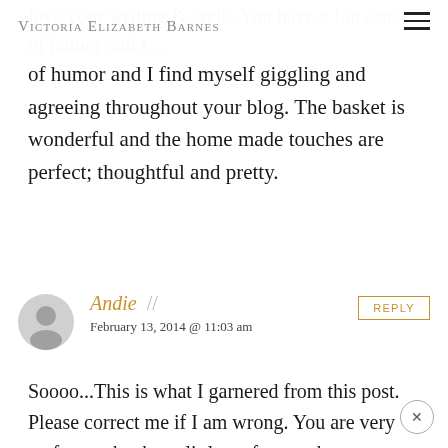Victoria Elizabeth Barnes
of humor and I find myself giggling and agreeing throughout your blog. The basket is wonderful and the home made touches are perfect; thoughtful and pretty.
Andie // February 13, 2014 @ 11:03 am
Soooo...This is what I garnered from this post. Please correct me if I am wrong. You are very crafty...make that a little crafty, maybe not so